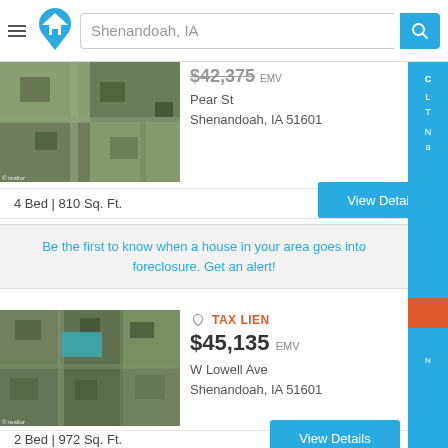[Figure (screenshot): Website header with hamburger menu, house logo, search bar with 'Shenandoah, IA' text, and blue search button]
[Figure (photo): Aerial satellite view of residential area - Pear St property]
$42,375 EMV
Pear St
Shenandoah, IA 51601
4 Bed | 810 Sq. Ft.
View Details
Be the first to know when a house in your area goes into foreclosure. Get an alert!
[Figure (photo): Aerial satellite view of residential area - W Lowell Ave property]
TAX LIEN
$45,135 EMV
W Lowell Ave
Shenandoah, IA 51601
2 Bed | 972 Sq. Ft.
View Details